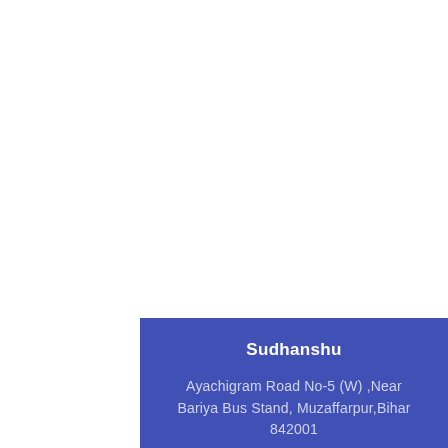Sudhanshu
Ayachigram Road No-5 (W) ,Near Bariya Bus Stand, Muzaffarpur,Bihar 842001
Email